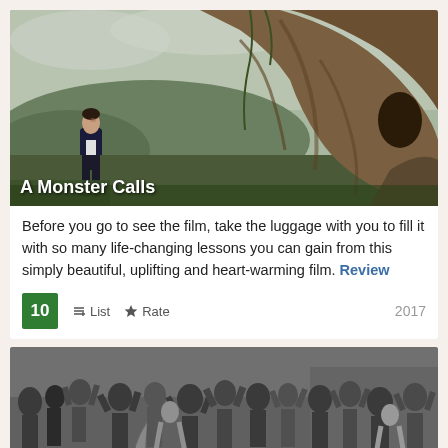[Figure (photo): Movie still from 'A Monster Calls' showing a boy in a suit standing next to a massive ancient tree with a face-like appearance, in a green/overcast landscape]
A Monster Calls
Before you go to see the film, take the luggage with you to fill it with so many life-changing lessons you can gain from this simply beautiful, uplifting and heart-warming film. Review
10  ≡+ List  ★ Rate  2017
[Figure (photo): Black and white movie still showing a large group of people dancing or moving together in what appears to be a theatrical or musical scene]